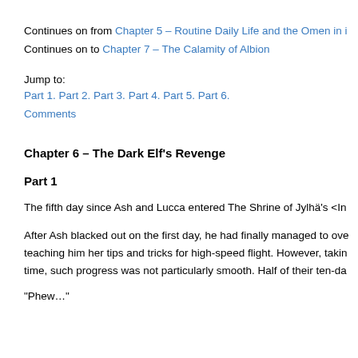Continues on from Chapter 5 – Routine Daily Life and the Omen in i
Continues on to Chapter 7 – The Calamity of Albion
Jump to:
Part 1. Part 2. Part 3. Part 4. Part 5. Part 6.
Comments
Chapter 6 – The Dark Elf's Revenge
Part 1
The fifth day since Ash and Lucca entered The Shrine of Jylhä's <In
After Ash blacked out on the first day, he had finally managed to ove teaching him her tips and tricks for high-speed flight. However, takin time, such progress was not particularly smooth. Half of their ten-da
“Phew…”